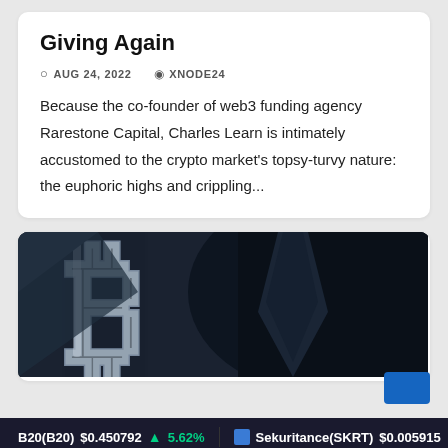Giving Again
AUG 24, 2022   XNODE24
Because the co-founder of web3 funding agency Rarestone Capital, Charles Learn is intimately accustomed to the crypto market's topsy-turvy nature: the euphoric highs and crippling...
[Figure (photo): Close-up photo of a silver Bitcoin logo/symbol against a dark background with a suit and tie visible]
B20(B20) $0.450792 ↑ 5.62%   Sekuritance(SKRT) $0.005915 ↓ -5